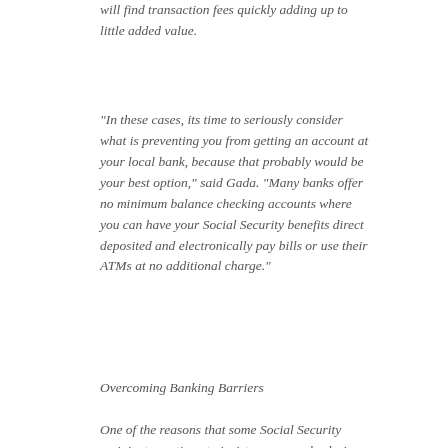will find transaction fees quickly adding up to little added value.
"In these cases, its time to seriously consider what is preventing you from getting an account at your local bank, because that probably would be your best option," said Gada. "Many banks offer no minimum balance checking accounts where you can have your Social Security benefits direct deposited and electronically pay bills or use their ATMs at no additional charge."
Overcoming Banking Barriers
One of the reasons that some Social Security recipients continue to insist on paper checks is the fear that their bank accounts could be attached by creditors. However, under federal law, Social Security